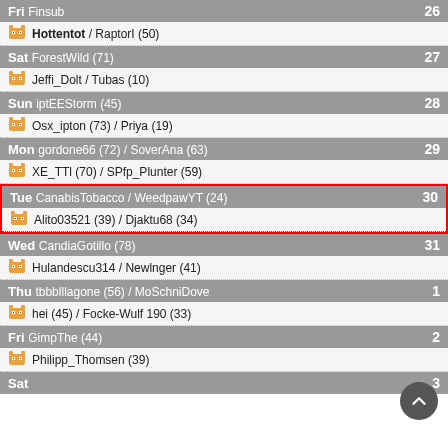Fri Finsub 26
Hottentot / RaptorI (50)
Sat ForestWild (71) 27
Jeffi_Dolt / Tubas (10)
Sun iptEEStorm (45) 28
Osx_ipton (73) / Priya (19)
Mon gordone66 (72) / SoverAna (63) 29
XE_TTL (70) / SPff_Plunter (59)
Tue CanabisTobacco / WeedpawYT (24) 30
Alito03521 (39) / Djaktu68 (34)
Wed CandiaGotillo (78) 31
Hulandescu314 / Newlnger (41)
Thu tbbblllagone (56) / MoSchniDove 1
hei (45) / Focke-Wulf 190 (33)
Fri GimpThe (44) 2
Philipp_Thomsen (39)
Sat 3